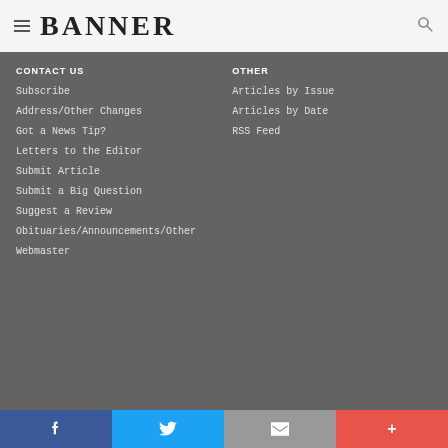BANNER
CONTACT US
OTHER
Subscribe
Articles by Issue
Address/Other Changes
Articles by Date
Got a News Tip?
RSS Feed
Letters to the Editor
Submit Article
Submit a Big Question
Suggest a Review
Obituaries/Announcements/Other
Webmaster
f  Twitter  Email  +